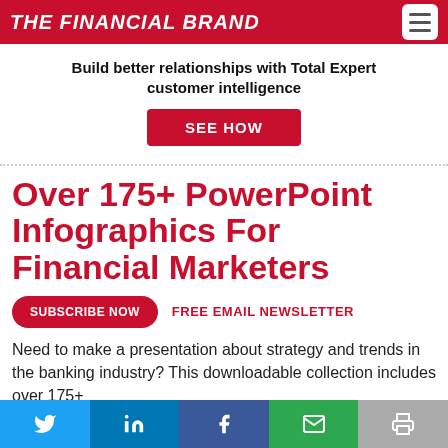THE FINANCIAL BRAND
Build better relationships with Total Expert customer intelligence
SEE HOW
Over 175+ PowerPoint Infographics For Financial Marketers
SUBSCRIBE NOW   FREE EMAIL NEWSLETTER
Need to make a presentation about strategy and trends in the banking industry? This downloadable collection includes over 175+